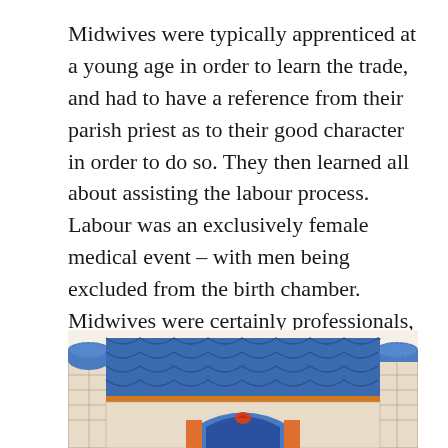Midwives were typically apprenticed at a young age in order to learn the trade, and had to have a reference from their parish priest as to their good character in order to do so. They then learned all about assisting the labour process. Labour was an exclusively female medical event – with men being excluded from the birth chamber. Midwives were certainly professionals, but the great majority of people (again, peasants) could still afford their services.
[Figure (illustration): Medieval illuminated manuscript illustration showing a building with a blue decorative roof, two cylindrical towers with blue-tiled domed tops, stone walls, and an arched doorway. The structure appears to be a medieval birth chamber or hall, depicted in the style of a medieval manuscript miniature with orange, blue, and cream colors.]